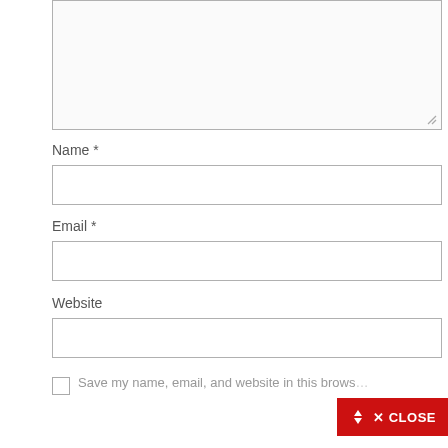[Figure (screenshot): Textarea input field (top portion cut off), partially shown at top of page]
Name *
[Figure (screenshot): Name input field (empty text box)]
Email *
[Figure (screenshot): Email input field (empty text box)]
Website
[Figure (screenshot): Website input field (empty text box)]
Save my name, email, and website in this brows…
[Figure (screenshot): CLOSE button (red background) with arrows and X icon, bottom-right corner]